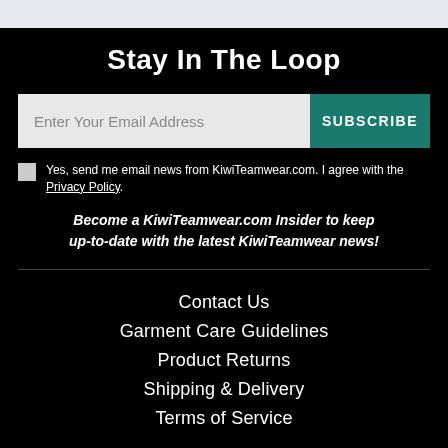Stay In The Loop
Enter Your Email Address | SUBSCRIBE
Yes, send me email news from KiwiTeamwear.com. I agree with the Privacy Policy.
Become a KiwiTeamwear.com Insider to keep up-to-date with the latest KiwiTeamwear news!
Contact Us
Garment Care Guidelines
Product Returns
Shipping & Delivery
Terms of Service